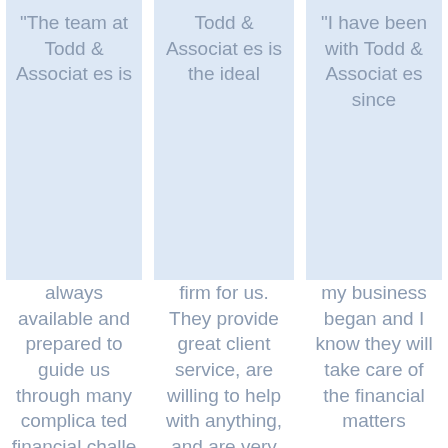"The team at Todd & Associates is always available and prepared to guide us through many complicated financial challenges...
Todd & Associates is the ideal firm for us. They provide great client service, are willing to help with anything, and are very...
"I have been with Todd & Associates since my business began and I know they will take care of the financial matters...